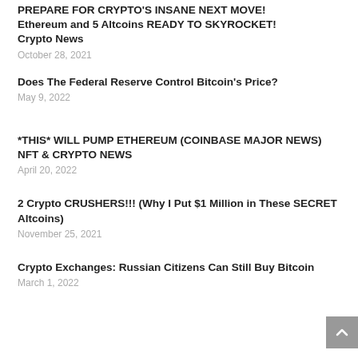PREPARE FOR CRYPTO'S INSANE NEXT MOVE! Ethereum and 5 Altcoins READY TO SKYROCKET! Crypto News
October 28, 2021
Does The Federal Reserve Control Bitcoin's Price?
May 9, 2022
*THIS* WILL PUMP ETHEREUM (COINBASE MAJOR NEWS) NFT & CRYPTO NEWS
April 20, 2022
2 Crypto CRUSHERS!!! (Why I Put $1 Million in These SECRET Altcoins)
November 25, 2021
Crypto Exchanges: Russian Citizens Can Still Buy Bitcoin
March 1, 2022